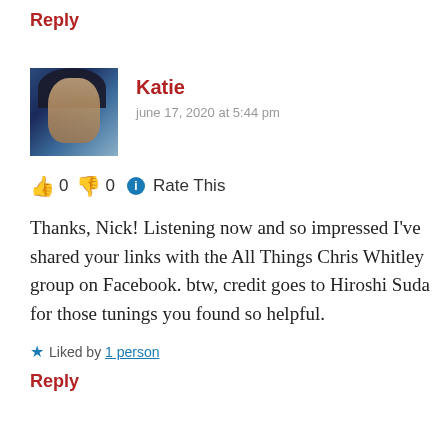Reply
Katie
june 17, 2020 at 5:44 pm
👍 0 👎 0 ℹ Rate This
Thanks, Nick! Listening now and so impressed I've shared your links with the All Things Chris Whitley group on Facebook. btw, credit goes to Hiroshi Suda for those tunings you found so helpful.
★ Liked by 1 person
Reply